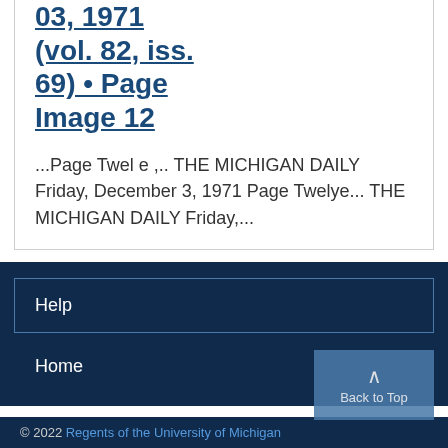03, 1971 (vol. 82, iss. 69) • Page Image 12
...Page Twelve ,.. THE MICHIGAN DAILY Friday, December 3, 1971 Page Twelye... THE MICHIGAN DAILY Friday,...
Help
Home
© 2022 Regents of the University of Michigan